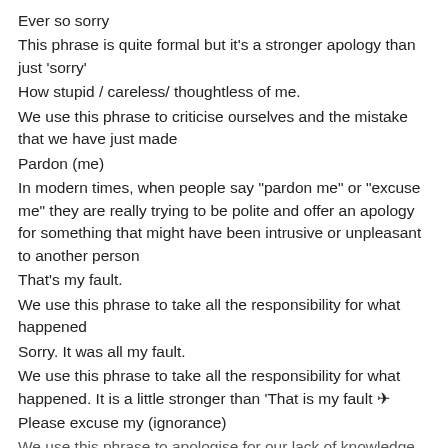Ever so sorry
This phrase is quite formal but it's a stronger apology than just 'sorry'
How stupid / careless/ thoughtless of me.
We use this phrase to criticise ourselves and the mistake that we have just made
Pardon (me)
In modern times, when people say "pardon me" or "excuse me" they are really trying to be polite and offer an apology for something that might have been intrusive or unpleasant to another person
That's my fault.
We use this phrase to take all the responsibility for what happened
Sorry. It was all my fault.
We use this phrase to take all the responsibility for what happened. It is a little stronger than 'That is my fault ✈
Please excuse my (ignorance)
We use this phrase to apologise for our lack of knowledge